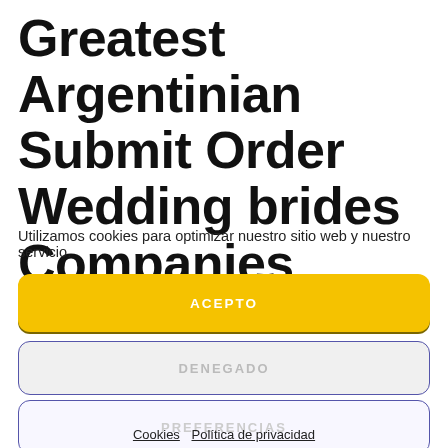Greatest Argentinian Submit Order Wedding brides Companies
Utilizamos cookies para optimizar nuestro sitio web y nuestro servicio.
ACEPTO
DENEGADO
PREFERENCIAS
Cookies  Política de privacidad